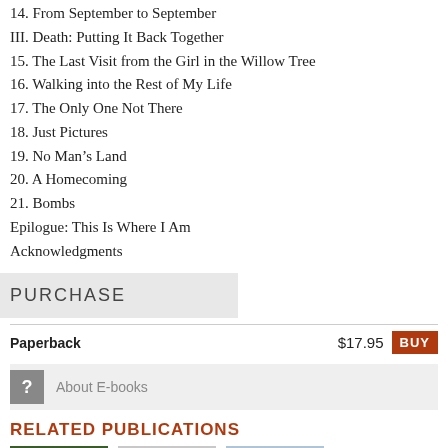14. From September to September
III. Death: Putting It Back Together
15. The Last Visit from the Girl in the Willow Tree
16. Walking into the Rest of My Life
17. The Only One Not There
18. Just Pictures
19. No Man’s Land
20. A Homecoming
21. Bombs
Epilogue: This Is Where I Am
Acknowledgments
PURCHASE
Paperback   $17.95  BUY
? About E-books
RELATED PUBLICATIONS
[Figure (photo): Book cover thumbnails: green cover with 'WE'LL BE THE', a gray M logo cover, and a photo cover with people]
WE'LL BE THE